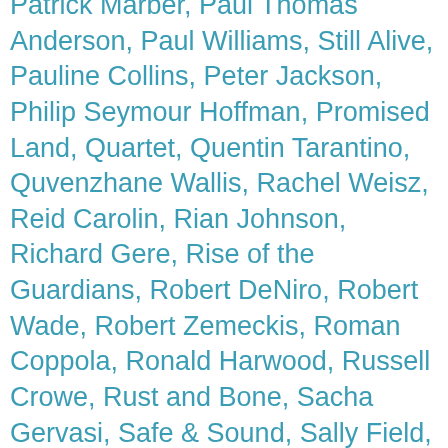Patrick Marber, Paul Thomas Anderson, Paul Williams, Still Alive, Pauline Collins, Peter Jackson, Philip Seymour Hoffman, Promised Land, Quartet, Quentin Tarantino, Quvenzhane Wallis, Rachel Weisz, Reid Carolin, Rian Johnson, Richard Gere, Rise of the Guardians, Robert DeNiro, Robert Wade, Robert Zemeckis, Roman Coppola, Ronald Harwood, Russell Crowe, Rust and Bone, Sacha Gervasi, Safe & Sound, Sally Field, Salmon Fishing in the Yemen, Sam Mendes, Samantha Barks, Samsara, Samuel L. Jackson, Sarah Polley, Searching for Sugar Man, Sergio G. Sanchez, Seven Psychopaths, Silver Linings Playbook, Simon Beaufoy, Skyfall, Smashed, Snow White and the Huntman, Stand Up Guys, Stephen Chbosky, Steven Spielberg, Still Alive, Still Dream, Strange Love, Suddenly, Suraj Sharma, Take This Waltz, The Best Exotic Marigold Hotel, The Cabin in the Woods, The Central Park Five, The Dark Knight Rises, The Deep Blue Sea, The Gatekeepers, The Guilt Trip, The Hobbit: An Unexpected Journey, The House I Live In, The Hunger Games, The Impossible, The Imposter, The Intouchables, The Invisible War, The Lorax, The Master, The Painting (Le Tableau), The Paperboy,